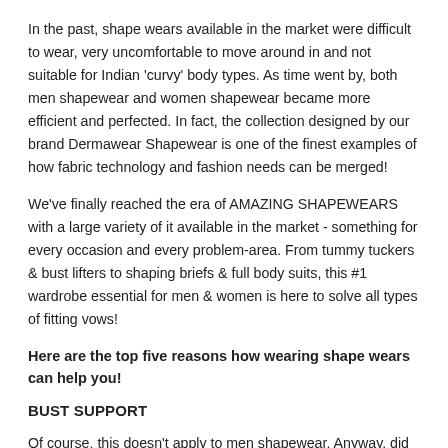In the past, shape wears available in the market were difficult to wear, very uncomfortable to move around in and not suitable for Indian 'curvy' body types. As time went by, both men shapewear and women shapewear became more efficient and perfected. In fact, the collection designed by our brand Dermawear Shapewear is one of the finest examples of how fabric technology and fashion needs can be merged!
We've finally reached the era of AMAZING SHAPEWEARS with a large variety of it available in the market - something for every occasion and every problem-area. From tummy tuckers & bust lifters to shaping briefs & full body suits, this #1 wardrobe essential for men & women is here to solve all types of fitting vows!
Here are the top five reasons how wearing shape wears can help you!
BUST SUPPORT
Of course, this doesn't apply to men shapewear. Anyway, did you know that shapewear can provide bust support? It's true